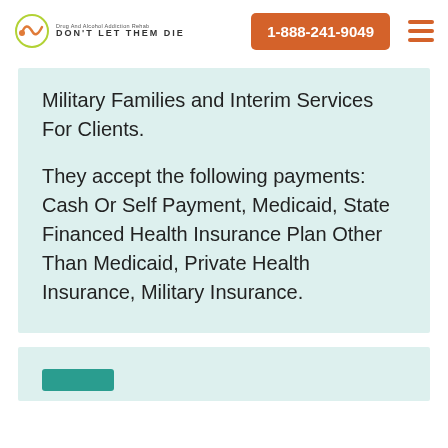DON'T LET THEM DIE | 1-888-241-9049
Military Families and Interim Services For Clients.
They accept the following payments: Cash Or Self Payment, Medicaid, State Financed Health Insurance Plan Other Than Medicaid, Private Health Insurance, Military Insurance.